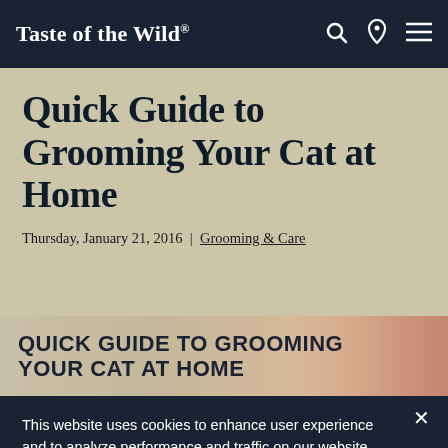Taste of the Wild®
Quick Guide to Grooming Your Cat at Home
Thursday, January 21, 2016 | Grooming & Care
[Figure (photo): Photo banner with text overlay reading QUICK GUIDE TO GROOMING YOUR CAT AT HOME, with a hand grooming a cat visible on the right side]
This website uses cookies to enhance user experience and to analyze performance and traffic on our website. We also share information about your use of our site with our social media, advertising and analytics partners.
Manage Cookies   Accept Cookies